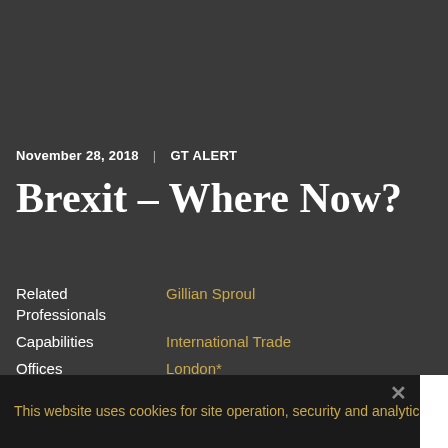November 28, 2018  |  GT ALERT
Brexit – Where Now?
Related Professionals    Gillian Sproul
Capabilities    International Trade
Offices    London*
This website uses cookies for site operation, security and analytics